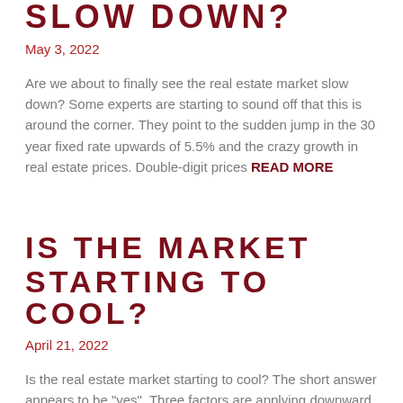SLOW DOWN?
May 3, 2022
Are we about to finally see the real estate market slow down? Some experts are starting to sound off that this is around the corner. They point to the sudden jump in the 30 year fixed rate upwards of 5.5% and the crazy growth in real estate prices. Double-digit prices READ MORE
IS THE MARKET STARTING TO COOL?
April 21, 2022
Is the real estate market starting to cool? The short answer appears to be "yes". Three factors are applying downward